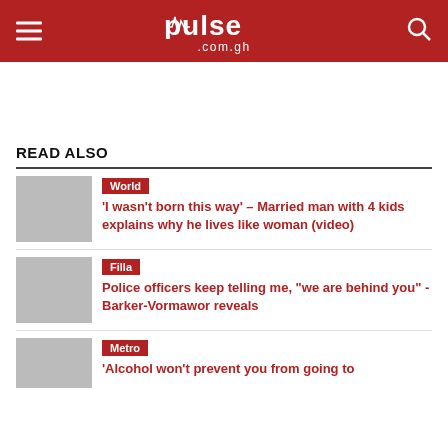pulse .com.gh
READ ALSO
World — 'I wasn't born this way' – Married man with 4 kids explains why he lives like woman (video)
Filla — Police officers keep telling me, "we are behind you" - Barker-Vormawor reveals
Metro — 'Alcohol won't prevent you from going to